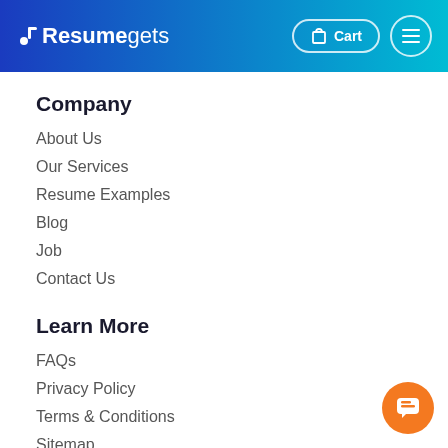Resumegets — Cart | Menu
Company
About Us
Our Services
Resume Examples
Blog
Job
Contact Us
Learn More
FAQs
Privacy Policy
Terms & Conditions
Sitemap